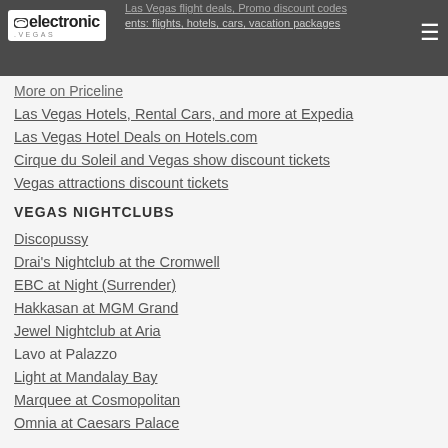electronic.vegas — navigation header with logo and hamburger menu
More on Priceline
Las Vegas Hotels, Rental Cars, and more at Expedia
Las Vegas Hotel Deals on Hotels.com
Cirque du Soleil and Vegas show discount tickets
Vegas attractions discount tickets
VEGAS NIGHTCLUBS
Discopussy
Drai's Nightclub at the Cromwell
EBC at Night (Surrender)
Hakkasan at MGM Grand
Jewel Nightclub at Aria
Lavo at Palazzo
Light at Mandalay Bay
Marquee at Cosmopolitan
Omnia at Caesars Palace